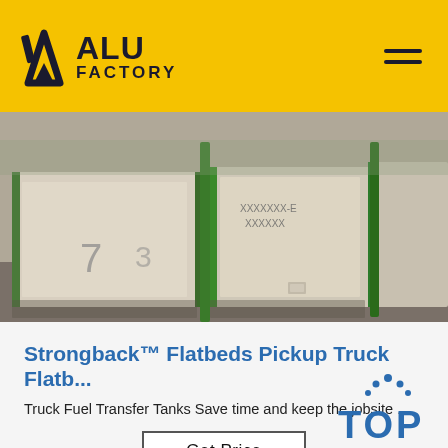ALU FACTORY
[Figure (photo): Warehouse photo showing large wooden crates/boxes with green metal frames stacked on a concrete floor]
Strongback™ Flatbeds Pickup Truck Flatb...
Truck Fuel Transfer Tanks Save time and keep the jobsite ...
Get Price
[Figure (photo): Factory floor photo showing aluminum sheets/plates on machinery with industrial equipment visible in the background]